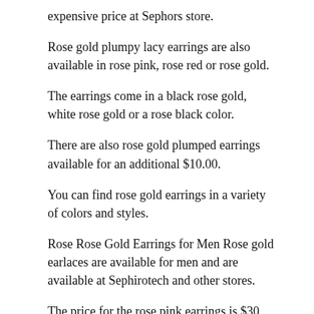expensive price at Sephors store.
Rose gold plumpy lacy earrings are also available in rose pink, rose red or rose gold.
The earrings come in a black rose gold, white rose gold or a rose black color.
There are also rose gold plumped earrings available for an additional $10.00.
You can find rose gold earrings in a variety of colors and styles.
Rose Rose Gold Earrings for Men Rose gold earlaces are available for men and are available at Sephirotech and other stores.
The price for the rose pink earrings is $30 each.